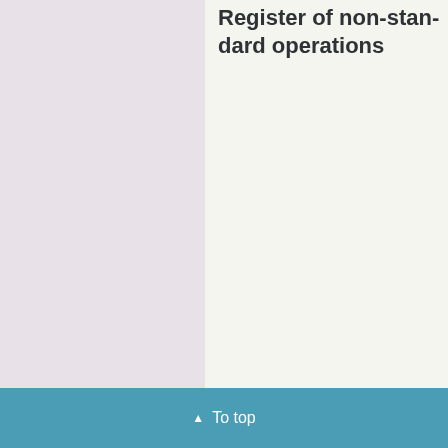Register of non-standard operations
▲ To top